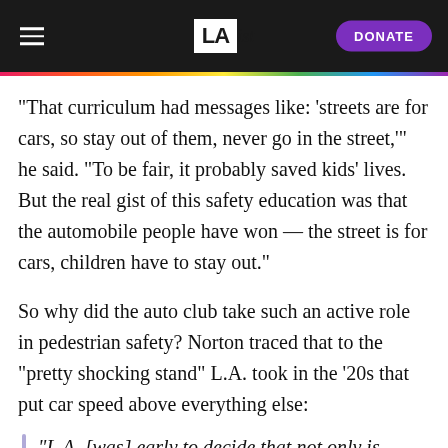LAist — DONATE
“That curriculum had messages like: ‘streets are for cars, so stay out of them, never go in the street,’” he said. “To be fair, it probably saved kids’ lives. But the real gist of this safety education was that the automobile people have won — the street is for cars, children have to stay out.”
So why did the auto club take such an active role in pedestrian safety? Norton traced that to the “pretty shocking stand” L.A. took in the ‘20s that put car speed above everything else:
“L.A. [was] early to decide that not only is